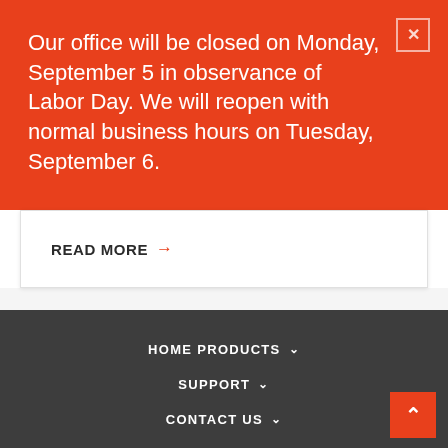Our office will be closed on Monday, September 5 in observance of Labor Day. We will reopen with normal business hours on Tuesday, September 6.
READ MORE →
HOME PRODUCTS ∨  SUPPORT ∨  CONTACT US ∨